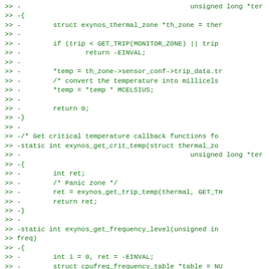[Figure (screenshot): Code diff screenshot showing removed lines (prefixed with >> -) of C source code for exynos thermal driver functions including exynos_get_trip_temp, exynos_get_crit_temp, and exynos_get_frequency_level]